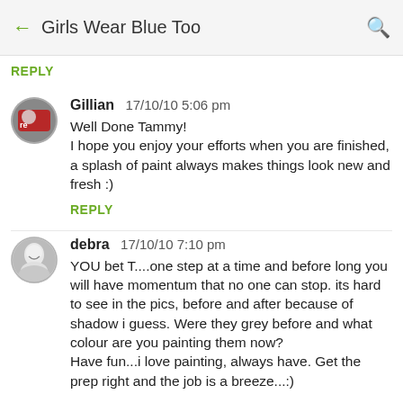Girls Wear Blue Too
REPLY
Gillian  17/10/10 5:06 pm
Well Done Tammy!
I hope you enjoy your efforts when you are finished, a splash of paint always makes things look new and fresh :)
REPLY
debra  17/10/10 7:10 pm
YOU bet T....one step at a time and before long you will have momentum that no one can stop. its hard to see in the pics, before and after because of shadow i guess. Were they grey before and what colour are you painting them now?
Have fun...i love painting, always have. Get the prep right and the job is a breeze...:)